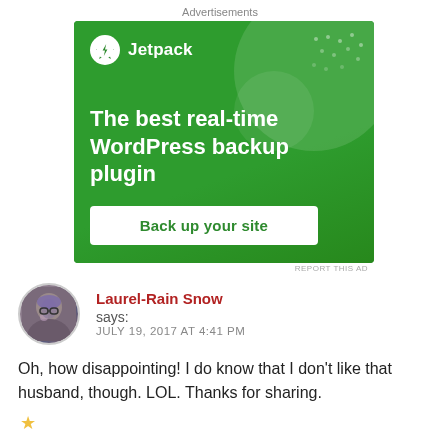Advertisements
[Figure (screenshot): Jetpack WordPress plugin advertisement. Green background with large circle decoration. Logo shows Jetpack name with lightning bolt icon. Headline: 'The best real-time WordPress backup plugin'. Button: 'Back up your site'.]
REPORT THIS AD
Laurel-Rain Snow says: JULY 19, 2017 AT 4:41 PM
Oh, how disappointing! I do know that I don't like that husband, though. LOL. Thanks for sharing.